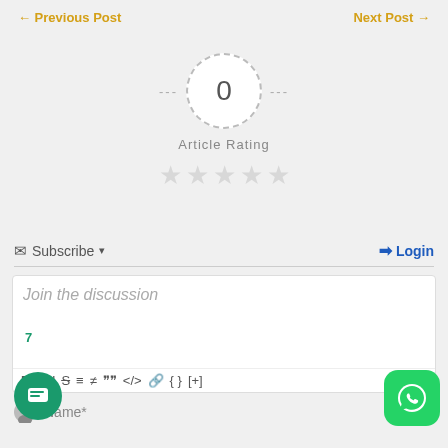← Previous Post    Next Post →
[Figure (infographic): Article rating widget with dashed circle showing 0 rating, dashes on each side, label 'Article Rating', and 5 empty grey stars below]
Subscribe ▾    Login
[Figure (screenshot): Comment text editor box with placeholder 'Join the discussion', number 7, and formatting toolbar with B, I, U, strikethrough, ordered list, unordered list, blockquote, code, link, braces, [+] buttons]
Name*